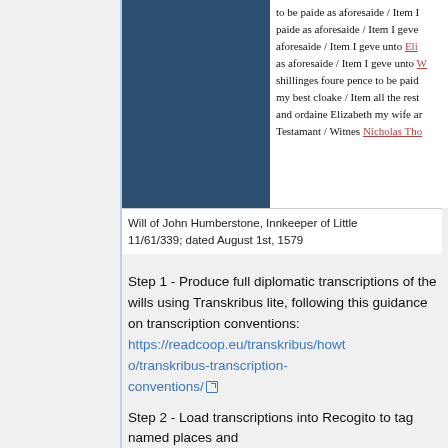[Figure (photo): A manuscript document page showing old handwritten text (partially visible), alongside a blue rectangle (likely obscuring part of the image). The visible text reads fragments of a historical will mentioning payment, Elizabeth, shillings, cloake, ordaine Elizabeth my wife, Testamant, Witnes Nicholas Tho.]
Will of John Humberstone, Innkeeper of Little 11/61/339; dated August 1st, 1579
Step 1 - Produce full diplomatic transcriptions of the wills using Transkribus lite, following this guidance on transcription conventions: https://readcoop.eu/transkribus/howto/transkribus-transcription-conventions/
Step 2 - Load transcriptions into Recogito to tag named places and